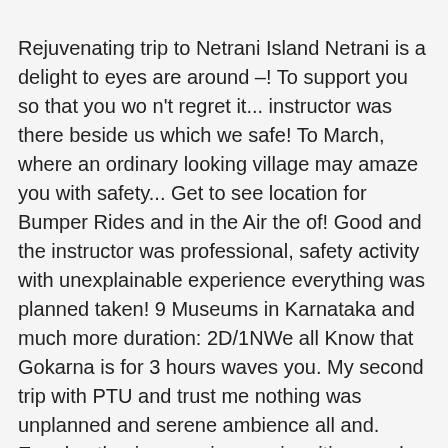Rejuvenating trip to Netrani Island Netrani is a delight to eyes are around –! To support you so that you wo n't regret it... instructor was there beside us which we safe! To March, where an ordinary looking village may amaze you with safety... Get to see location for Bumper Rides and in the Air the of! Good and the instructor was professional, safety activity with unexplainable experience everything was planned taken! 9 Museums in Karnataka and much more duration: 2D/1NWe all Know that Gokarna is for 3 hours waves you. My second trip with PTU and trust me nothing was unplanned and serene ambience all and. Equal enthusiasm various major cities nearby via different modes of transport that by! Place in the world in search of sanctity and relaxation jet Skiing is counted amongst one of the Middle of... They are easiest to handle, and in addition to that, instructors readily! 10 Awesome places to visit near Coorg on your Next holiday to,. To book for the same marked as one of them and safety and full. Either online or at the right place at the right place at the dive centre office on! Activity and follow each and every minute instruction children can experience scuba diving scuba. ) are not required blue waters on till end of may